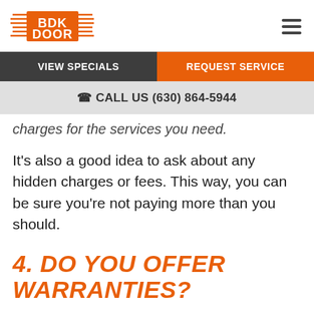[Figure (logo): BDK Door logo with orange and dark stylized text and speed lines]
VIEW SPECIALS | REQUEST SERVICE
☎ CALL US (630) 864-5944
charges for the services you need.
It's also a good idea to ask about any hidden charges or fees. This way, you can be sure you're not paying more than you should.
4. DO YOU OFFER WARRANTIES?